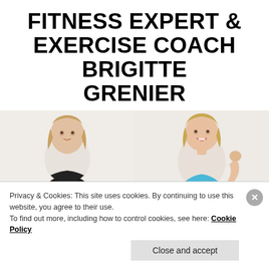FITNESS EXPERT & EXERCISE COACH BRIGITTE GRENIER
[Figure (photo): Two photos of fitness coach Brigitte Grenier side by side. Left: woman in black long-sleeve crop top and black shorts against white background. Right: woman in blue sports bra flexing her arm against white background.]
Privacy & Cookies: This site uses cookies. By continuing to use this website, you agree to their use.
To find out more, including how to control cookies, see here: Cookie Policy
Close and accept